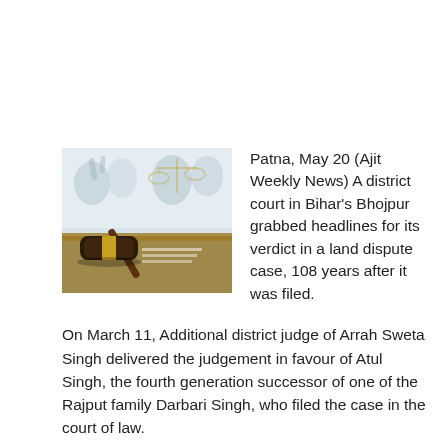[Figure (photo): A courtroom scene showing a judge's gavel in the foreground on a wooden surface, with a scale of justice and people (lawyers/judges) blurred in the background.]
Patna, May 20 (Ajit Weekly News) A district court in Bihar's Bhojpur grabbed headlines for its verdict in a land dispute case, 108 years after it was filed.
On March 11, Additional district judge of Arrah Sweta Singh delivered the judgement in favour of Atul Singh, the fourth generation successor of one of the Rajput family Darbari Singh, who filed the case in the court of law.
A team of lawyers — Ganesh Pandey and Satyendra Narayan